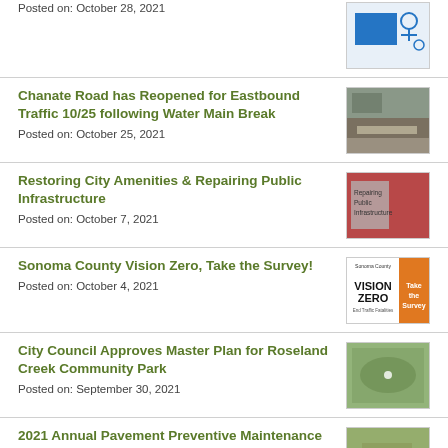Posted on: October 28, 2021
Chanate Road has Reopened for Eastbound Traffic 10/25 following Water Main Break
Posted on: October 25, 2021
Restoring City Amenities & Repairing Public Infrastructure
Posted on: October 7, 2021
Sonoma County Vision Zero, Take the Survey!
Posted on: October 4, 2021
City Council Approves Master Plan for Roseland Creek Community Park
Posted on: September 30, 2021
2021 Annual Pavement Preventive Maintenance Program City Streets